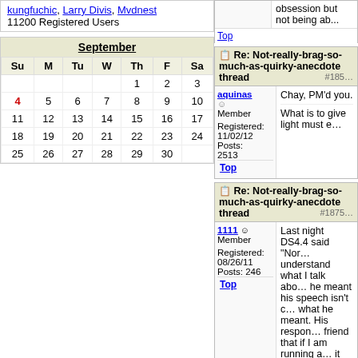kungfuchic, Larry Divis, Mvdnest
11200 Registered Users
| Su | M | Tu | W | Th | F | Sa |
| --- | --- | --- | --- | --- | --- | --- |
|  |  |  |  | 1 | 2 | 3 |
| 4 | 5 | 6 | 7 | 8 | 9 | 10 |
| 11 | 12 | 13 | 14 | 15 | 16 | 17 |
| 18 | 19 | 20 | 21 | 22 | 23 | 24 |
| 25 | 26 | 27 | 28 | 29 | 30 |  |
obsession but not being ab...
Top
Re: Not-really-brag-so-much-as-quirky-anecdote thread #185...
aquinas
Member
Registered: 11/02/12
Posts: 2513
Chay, PM'd you.

What is to give light must e...
Top
Re: Not-really-brag-so-much-as-quirky-anecdote thread #1875...
1111
Member
Registered: 08/26/11
Posts: 246
Last night DS4.4 said "Nor... understand what I talk abo... he meant his speech isn't c... what he meant. His respon... friend that if I am running a... it would look like I am goin... didn't understand..."
Top
Re: Not-really-brag-so- #1876...